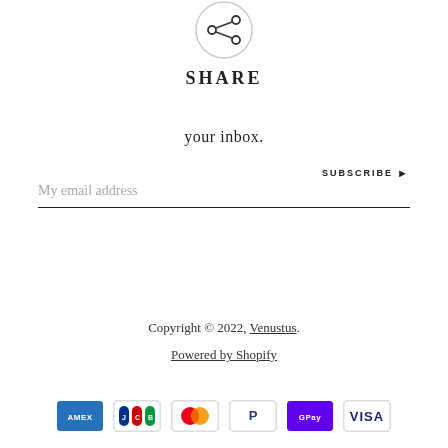[Figure (illustration): Share icon — circle with a share/network symbol inside]
SHARE
your inbox.
My email address
SUBSCRIBE ▶
Copyright © 2022, Venustus.
Powered by Shopify
[Figure (other): Payment method icons: American Express, JCB, Mastercard, PayPal, Google Pay, Visa]